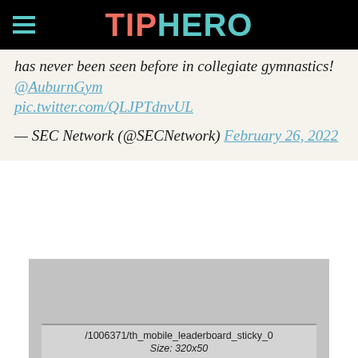TIPHERO
has never been seen before in collegiate gymnastics! @AuburnGym pic.twitter.com/QLJPTdnvUL
— SEC Network (@SECNetwork) February 26, 2022
[Figure (other): Advertisement placeholder showing /1006371/th_mobile_leaderboard_sticky_0 Size: 320x50]